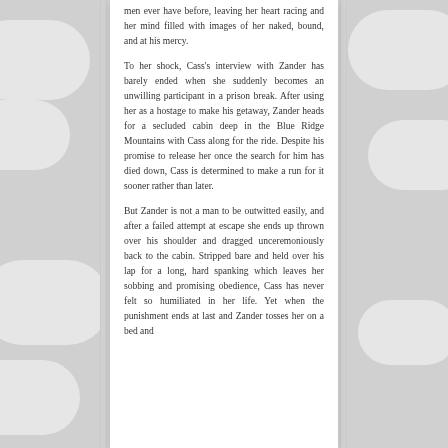men ever have before, leaving her heart racing and her mind filled with images of her naked, bound, and at his mercy.
To her shock, Cass's interview with Zander has barely ended when she suddenly becomes an unwilling participant in a prison break. After using her as a hostage to make his getaway, Zander heads for a secluded cabin deep in the Blue Ridge Mountains with Cass along for the ride. Despite his promise to release her once the search for him has died down, Cass is determined to make a run for it sooner rather than later.
But Zander is not a man to be outwitted easily, and after a failed attempt at escape she ends up thrown over his shoulder and dragged unceremoniously back to the cabin. Stripped bare and held over his lap for a long, hard spanking which leaves her sobbing and promising obedience, Cass has never felt so humiliated in her life. Yet when the punishment ends at last and Zander tosses her on a bed and